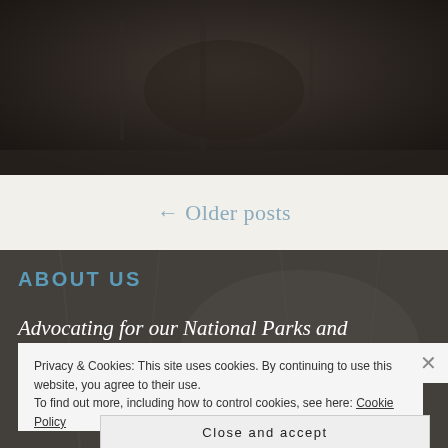[Figure (photo): Dark textured photo background at top of page, showing shadowy natural scenery]
← Older posts
ABOUT US
Advocating for our National Parks and
Privacy & Cookies: This site uses cookies. By continuing to use this website, you agree to their use.
To find out more, including how to control cookies, see here: Cookie Policy
Close and accept